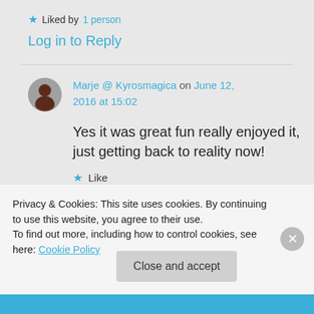★ Liked by 1 person
Log in to Reply
Marje @ Kyrosmagica on June 12, 2016 at 15:02
Yes it was great fun really enjoyed it, just getting back to reality now!
★ Like
Privacy & Cookies: This site uses cookies. By continuing to use this website, you agree to their use. To find out more, including how to control cookies, see here: Cookie Policy
Close and accept